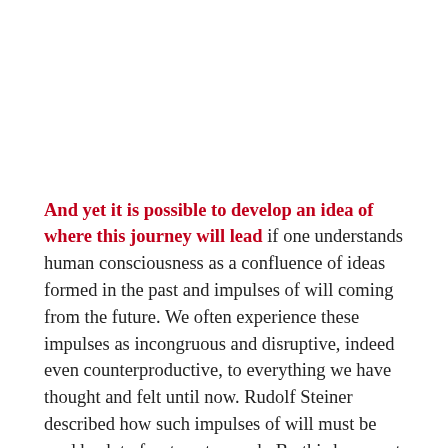And yet it is possible to develop an idea of where this journey will lead if one understands human consciousness as a confluence of ideas formed in the past and impulses of will coming from the future. We often experience these impulses as incongruous and disruptive, indeed even counterproductive, to everything we have thought and felt until now. Rudolf Steiner described how such impulses of will must be read back to front, so to speak. By this he meant that our usual view of cause and effect has to be reversed, for these impulses of will often show themselves in a mirrored form. To develop “prophetic sight”, it becomes necessary to go backwards in time. Elsewhere he spoke of a form of “prophetic sight”, which recognises that even in the most “ill